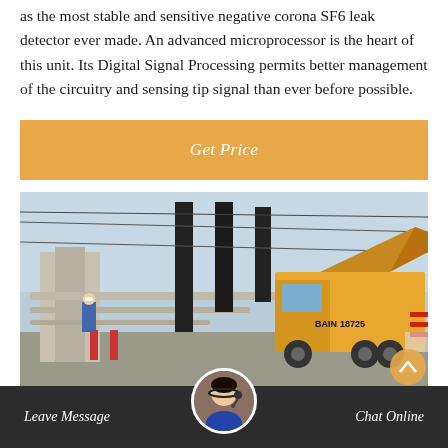as the most stable and sensitive negative corona SF6 leak detector ever made. An advanced microprocessor is the heart of this unit. Its Digital Signal Processing permits better management of the circuitry and sensing tip signal than ever before possible.
[Figure (other): Orange 'Get Price' button with italic white text on orange background]
[Figure (photo): Photograph of an electrical substation with yellow utility truck (marked BAIN 18725) and workers in hard hats, power lines and industrial equipment visible]
Leave Message   Chat Online